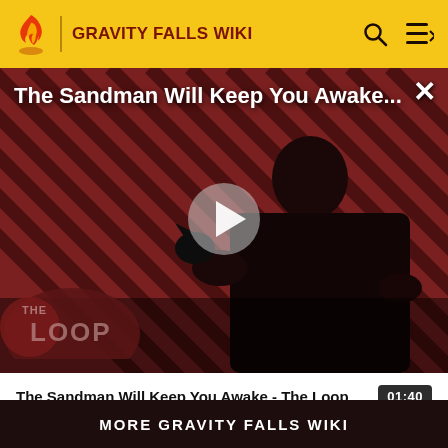GRAVITY FALLS WIKI
[Figure (screenshot): Video player showing 'The Sandman Will Keep You Awake - The Loop' with a dark-cloaked figure on a diagonal striped background, a play button in the center, and The Loop logo at lower left. Title shown at top of video.]
The Sandman Will Keep You Awake - The Loop  01:40
Community content is available under CC-BY-SA unless otherwise noted.
MORE GRAVITY FALLS WIKI